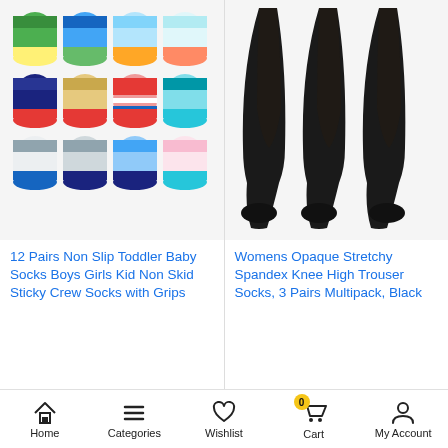[Figure (photo): 12 pairs of colorful non-slip toddler baby socks for boys and girls arranged in a grid showing various patterns and colors]
[Figure (photo): Three pairs of women's legs wearing black opaque knee-high trouser socks]
12 Pairs Non Slip Toddler Baby Socks Boys Girls Kid Non Skid Sticky Crew Socks with Grips
Womens Opaque Stretchy Spandex Knee High Trouser Socks, 3 Pairs Multipack, Black
Home | Categories | Wishlist | Cart (0) | My Account